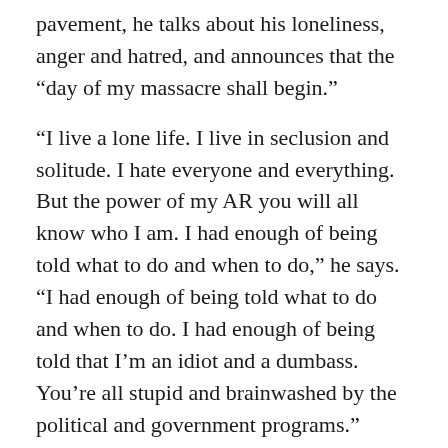pavement, he talks about his loneliness, anger and hatred, and announces that the “day of my massacre shall begin.”
“I live a lone life. I live in seclusion and solitude. I hate everyone and everything. But the power of my AR you will all know who I am. I had enough of being told what to do and when to do,” he says. “I had enough of being told what to do and when to do. I had enough of being told that I’m an idiot and a dumbass. You’re all stupid and brainwashed by the political and government programs.”
He also referenced a former girlfriend, saying “I hope to see you in the afterlife.”
RELATED: